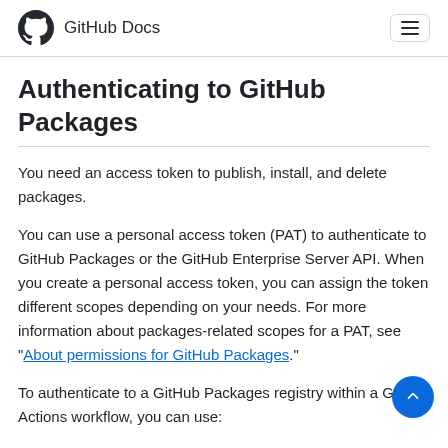GitHub Docs
Authenticating to GitHub Packages
You need an access token to publish, install, and delete packages.
You can use a personal access token (PAT) to authenticate to GitHub Packages or the GitHub Enterprise Server API. When you create a personal access token, you can assign the token different scopes depending on your needs. For more information about packages-related scopes for a PAT, see "About permissions for GitHub Packages."
To authenticate to a GitHub Packages registry within a GitHub Actions workflow, you can use: